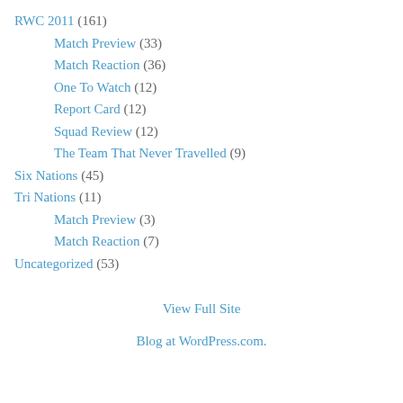RWC 2011 (161)
Match Preview (33)
Match Reaction (36)
One To Watch (12)
Report Card (12)
Squad Review (12)
The Team That Never Travelled (9)
Six Nations (45)
Tri Nations (11)
Match Preview (3)
Match Reaction (7)
Uncategorized (53)
View Full Site
Blog at WordPress.com.